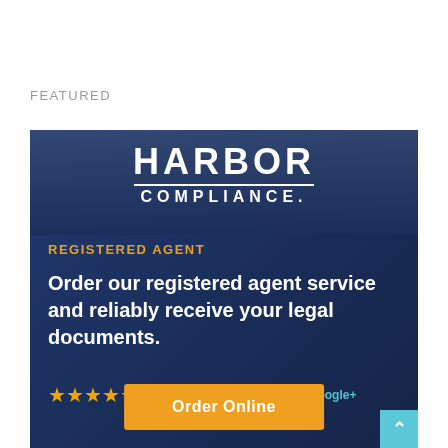FEATURED
[Figure (advertisement): Harbor Compliance advertisement banner with dark navy background showing logo, 'REGISTERED AGENT' label, tagline 'Order our registered agent service and reliably receive your legal documents.', 4.6/5 star rating by 80 Google+ clients, and an orange 'Order Online' button.]